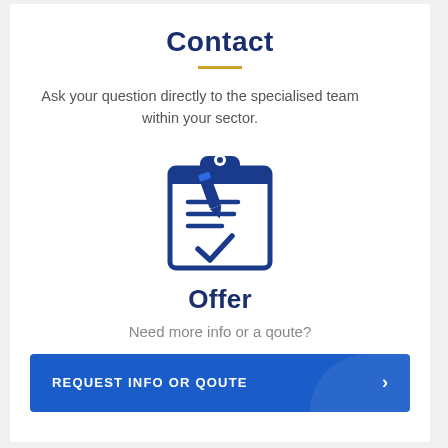Contact
Ask your question directly to the specialised team within your sector.
[Figure (illustration): Blue clipboard icon with pen/pencil and checkmark, representing an offer or quote form]
Offer
Need more info or a qoute?
REQUEST INFO OR QOUTE